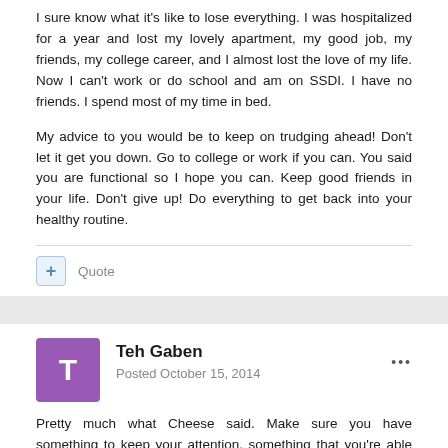I sure know what it's like to lose everything. I was hospitalized for a year and lost my lovely apartment, my good job, my friends, my college career, and I almost lost the love of my life. Now I can't work or do school and am on SSDI. I have no friends. I spend most of my time in bed.
My advice to you would be to keep on trudging ahead! Don't let it get you down. Go to college or work if you can. You said you are functional so I hope you can. Keep good friends in your life. Don't give up! Do everything to get back into your healthy routine.
Quote
Teh Gaben
Posted October 15, 2014
Pretty much what Cheese said. Make sure you have something to keep your attention, something that you're able to get involved